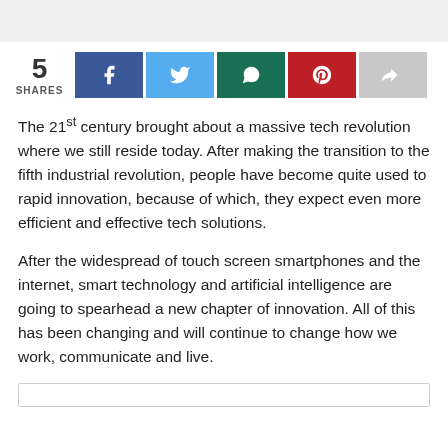[Figure (infographic): Social share bar showing 5 shares with Facebook, Twitter, WhatsApp, Pinterest, and generic share buttons]
The 21st century brought about a massive tech revolution where we still reside today. After making the transition to the fifth industrial revolution, people have become quite used to rapid innovation, because of which, they expect even more efficient and effective tech solutions.
After the widespread of touch screen smartphones and the internet, smart technology and artificial intelligence are going to spearhead a new chapter of innovation. All of this has been changing and will continue to change how we work, communicate and live.